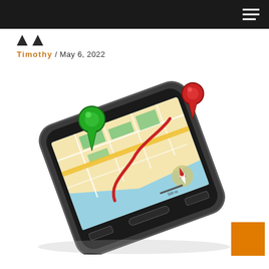Navigation menu header bar
Timothy / May 6, 2022
[Figure (photo): A smartphone lying at an angle with a GPS map navigation app displayed on screen. Two large 3D pin markers (one green, one red) sit atop the phone screen showing a route path connecting two locations on a city street map.]